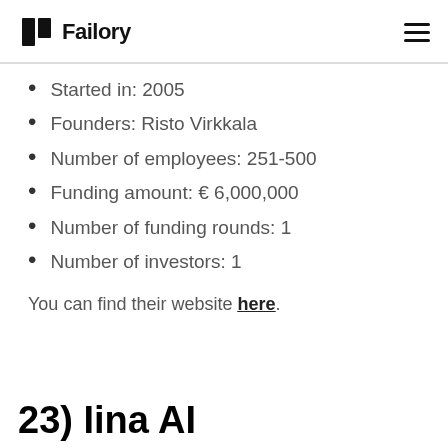Failory
Started in: 2005
Founders: Risto Virkkala
Number of employees: 251-500
Funding amount: € 6,000,000
Number of funding rounds: 1
Number of investors: 1
You can find their website here.
23) Iina AI